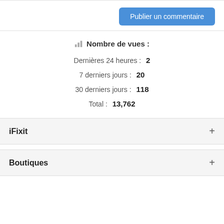Publier un commentaire
Nombre de vues :
Dernières 24 heures : 2
7 derniers jours : 20
30 derniers jours : 118
Total : 13,762
iFixit
Boutiques